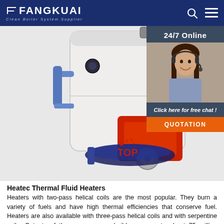FANGKUAI Clean Boiler System Supplier
[Figure (photo): Heatec thermal fluid heater boiler unit - white cylindrical vertical boiler with red burner attachment and blue base, with blue hydraulic connections]
[Figure (photo): 24/7 Online customer service widget showing a woman with headset smiling, with 'Click here for free chat!' text and QUOTATION button]
Heatec Thermal Fluid Heaters
Heaters with two-pass helical coils are the most popular. They burn a variety of fuels and have high thermal efficiencies that conserve fuel. Heaters are also available with three-pass helical coils and with serpentine coils. Outputs of the ones we can build range up to about 75 million Btu/hour. Heatec makes their own thermal fluid coils.